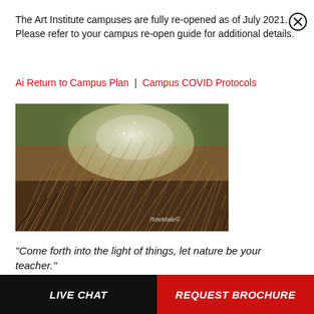The Art Institute campuses are fully re-opened as of July 2021. Please refer to your campus re-open guide for additional details.
Ai Return to Campus Plan | Campus COVID Protocols
[Figure (photo): Close-up photograph of dry grasses and plants in natural outdoor light, with a watermark reading 'RoeMale©']
"Come forth into the light of things, let nature be your teacher."
– William Wordsworth
LIVE CHAT
REQUEST BROCHURE